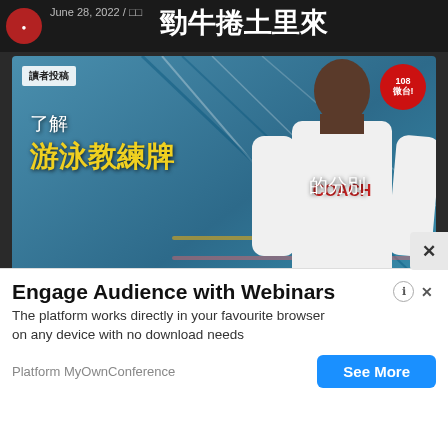[Figure (screenshot): Top banner strip with date 'June 28, 2022' and Chinese headline text in white on dark background]
[Figure (photo): Article card showing swimming coach from behind wearing white COACH shirt, poolside background with lane lines. Overlaid Chinese text: 了解 游泳教練牌 的分別. Badge: 讀者投稿. Date: May 11, 2022.]
讀者投稿
了解 游泳教練牌 的分別
May 11, 2022 / □□□□
□□□□
Garmin □□□□□□□□□□□□□□ □□□□□□□□
[Figure (infographic): Advertisement overlay: 'Engage Audience with Webinars' - MyOwnConference platform ad with See More button]
Engage Audience with Webinars
The platform works directly in your favourite browser on any device with no download needs
Platform MyOwnConference
See More